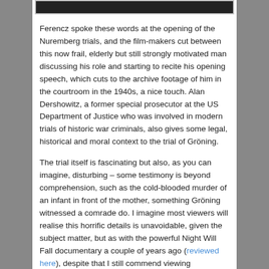[Figure (photo): Top strip of a photograph showing people, partially cropped at the top of the page]
Ferencz spoke these words at the opening of the Nuremberg trials, and the film-makers cut between this now frail, elderly but still strongly motivated man discussing his role and starting to recite his opening speech, which cuts to the archive footage of him in the courtroom in the 1940s, a nice touch. Alan Dershowitz, a former special prosecutor at the US Department of Justice who was involved in modern trials of historic war criminals, also gives some legal, historical and moral context to the trial of Gröning.
The trial itself is fascinating but also, as you can imagine, disturbing – some testimony is beyond comprehension, such as the cold-blooded murder of an infant in front of the mother, something Gröning witnessed a comrade do. I imagine most viewers will realise this horrific details is unavoidable, given the subject matter, but as with the powerful Night Will Fall documentary a couple of years ago (reviewed here), despite that I still commend viewing